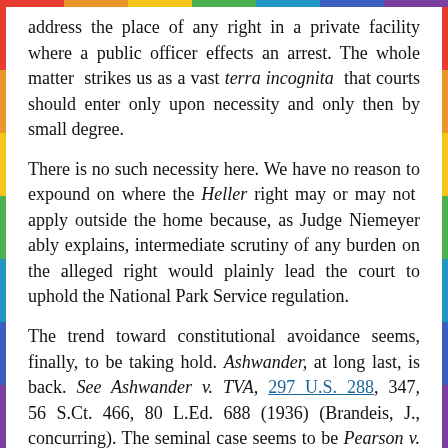address the place of any right in a private facility where a public officer effects an arrest. The whole matter strikes us as a vast terra incognita that courts should enter only upon necessity and only then by small degree.
There is no such necessity here. We have no reason to expound on where the Heller right may or may not apply outside the home because, as Judge Niemeyer ably explains, intermediate scrutiny of any burden on the alleged right would plainly lead the court to uphold the National Park Service regulation.
The trend toward constitutional avoidance seems, finally, to be taking hold. Ashwander, at long last, is back. See Ashwander v. TVA, 297 U.S. 288, 347, 56 S.Ct. 466, 80 L.Ed. 688 (1936) (Brandeis, J., concurring). The seminal case seems to be Pearson v. Callahan, 555 U.S. 223, 129 S.Ct. 808, 172 L.Ed.2d 565 (2009), which cut back on Saucier